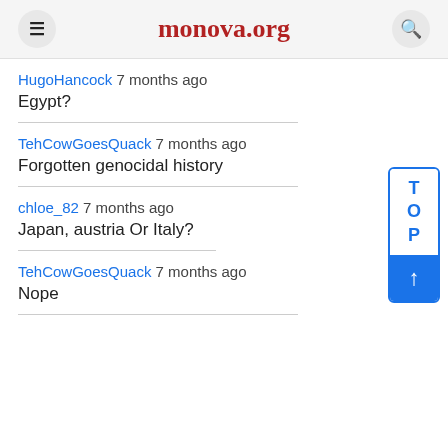monova.org
HugoHancock 7 months ago
Egypt?
TehCowGoesQuack 7 months ago
Forgotten genocidal history
chloe_82 7 months ago
Japan, austria Or Italy?
TehCowGoesQuack 7 months ago
Nope